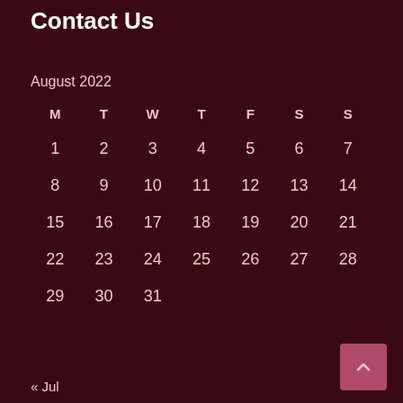Contact Us
| M | T | W | T | F | S | S |
| --- | --- | --- | --- | --- | --- | --- |
| 1 | 2 | 3 | 4 | 5 | 6 | 7 |
| 8 | 9 | 10 | 11 | 12 | 13 | 14 |
| 15 | 16 | 17 | 18 | 19 | 20 | 21 |
| 22 | 23 | 24 | 25 | 26 | 27 | 28 |
| 29 | 30 | 31 |  |  |  |  |
« Jul